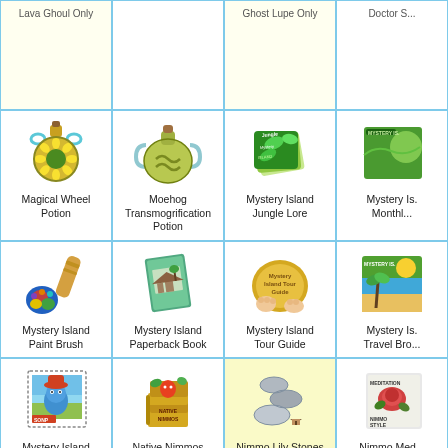| Lava Ghoul Only |  | Ghost Lupe Only | Doctor S... |
| Magical Wheel Potion | Moehog Transmogrification Potion | Mystery Island Jungle Lore | Mystery Island Monthly... |
| Mystery Island Paint Brush | Mystery Island Paperback Book | Mystery Island Tour Guide | Mystery Island Travel Bro... |
| Mystery Island Travel Stamp | Native Nimmos | Nimmo Lily Stones / Ryshu The Nimmo | Nimmo Med... |